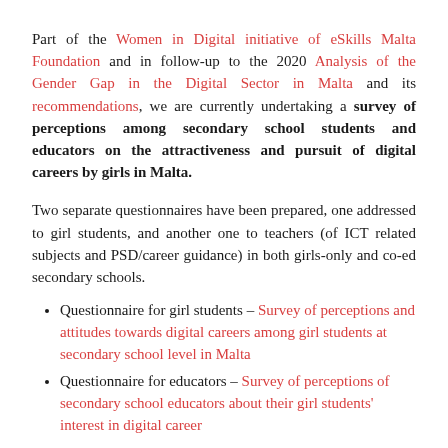Part of the Women in Digital initiative of eSkills Malta Foundation and in follow-up to the 2020 Analysis of the Gender Gap in the Digital Sector in Malta and its recommendations, we are currently undertaking a survey of perceptions among secondary school students and educators on the attractiveness and pursuit of digital careers by girls in Malta.
Two separate questionnaires have been prepared, one addressed to girl students, and another one to teachers (of ICT related subjects and PSD/career guidance) in both girls-only and co-ed secondary schools.
Questionnaire for girl students – Survey of perceptions and attitudes towards digital careers among girl students at secondary school level in Malta
Questionnaire for educators – Survey of perceptions of secondary school educators about their girl students' interest in digital career